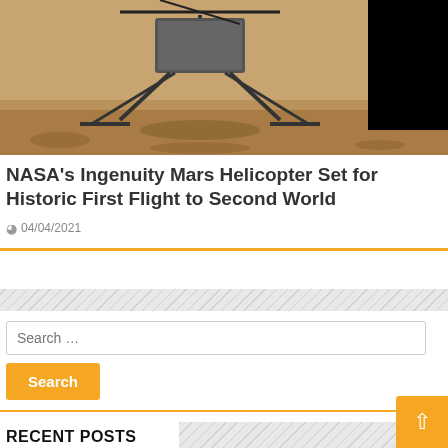[Figure (photo): Photo of NASA Ingenuity Mars Helicopter on Mars surface, sepia-toned, with black corner top-right]
NASA's Ingenuity Mars Helicopter Set for Historic First Flight to Second World
04/04/2021
Search …
RECENT POSTS
Anthony Davis arrives at the Aid to Motorcycle crash site in